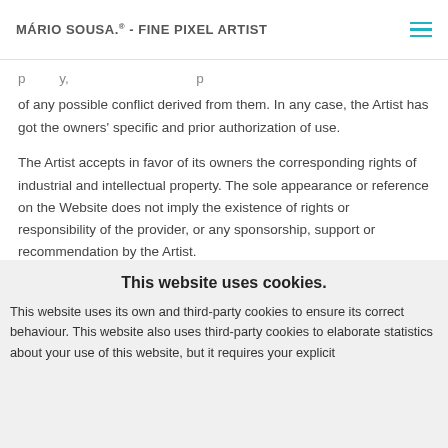MÁRIO SOUSA.® - FINE PIXEL ARTIST
of any possible conflict derived from them. In any case, the Artist has got the owners' specific and prior authorization of use.
The Artist accepts in favor of its owners the corresponding rights of industrial and intellectual property. The sole appearance or reference on the Website does not imply the existence of rights or responsibility of the provider, or any sponsorship, support or recommendation by the Artist.
This website uses cookies.
This website uses its own and third-party cookies to ensure its correct behaviour. This website also uses third-party cookies to elaborate statistics about your use of this website, but it requires your explicit